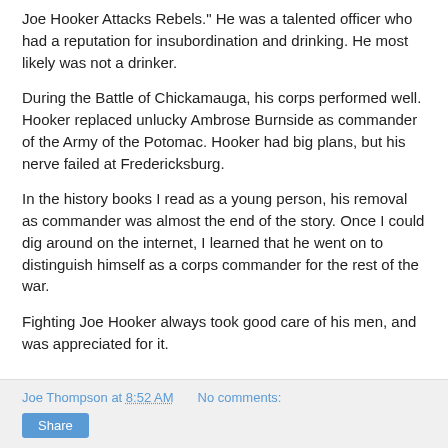Joe Hooker Attacks Rebels." He was a talented officer who had a reputation for insubordination and drinking. He most likely was not a drinker.
During the Battle of Chickamauga, his corps performed well. Hooker replaced unlucky Ambrose Burnside as commander of the Army of the Potomac. Hooker had big plans, but his nerve failed at Fredericksburg.
In the history books I read as a young person, his removal as commander was almost the end of the story. Once I could dig around on the internet, I learned that he went on to distinguish himself as a corps commander for the rest of the war.
Fighting Joe Hooker always took good care of his men, and was appreciated for it.
Joe Thompson at 8:52 AM   No comments:   Share